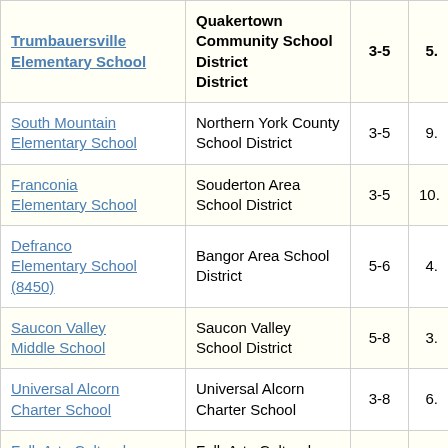| School | District | Grades |  |
| --- | --- | --- | --- |
| Trumbauersville Elementary School | Quakertown Community School District | 3-5 | 5. |
| South Mountain Elementary School | Northern York County School District | 3-5 | 9. |
| Franconia Elementary School | Souderton Area School District | 3-5 | 10. |
| Defranco Elementary School (8450) | Bangor Area School District | 5-6 | 4. |
| Saucon Valley Middle School | Saucon Valley School District | 5-8 | 3. |
| Universal Alcorn Charter School | Universal Alcorn Charter School | 3-8 | 6. |
| Folk Arts-Cultural Treasures Charter School | Folk Arts-Cultural Treasures Charter School | 3-7 | 7. |